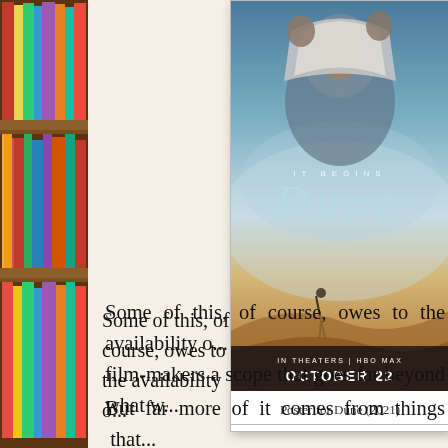[Figure (photo): A vertical strip showing a bookshelf filled with colorful books, spanning the full left side of the page]
[Figure (photo): Movie poster for Dune (2021) showing a figure in desert robes with 'IT BEGINS' and 'DUNE' text, and 'IN THEATERS | HBO MAX OCTOBER 22' at the bottom]
Poster for Dune (2021)
Some of this, of course, owes to the availability of digital tools that give film-makers a scope that goes far beyond what w...
But far more of it comes from things that technology. Villeneuve's ability to conceptualis...